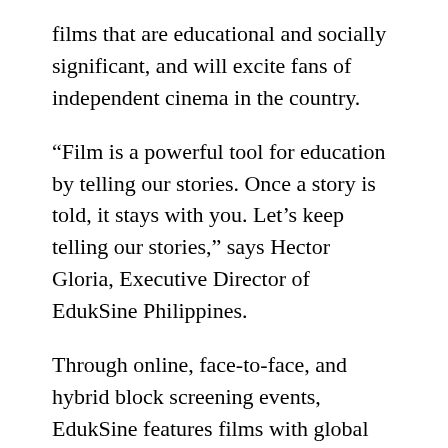films that are educational and socially significant, and will excite fans of independent cinema in the country.
“Film is a powerful tool for education by telling our stories. Once a story is told, it stays with you. Let’s keep telling our stories,” says Hector Gloria, Executive Director of EdukSine Philippines.
Through online, face-to-face, and hybrid block screening events, EdukSine features films with global impact that strengthen Filipino cultural roots and narratives. The initiative seeks to provide audiences with contextual and transformative film content, meaningful engagements, and long-term support for independent Filipino film producers, directors,